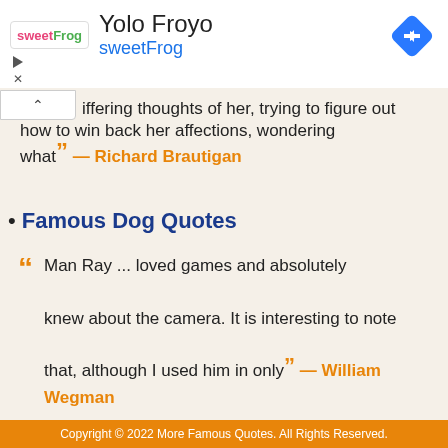[Figure (logo): sweetFrog premium frozen yogurt logo and Yolo Froyo ad banner with navigation arrow icon]
iffering thoughts of her, trying to figure out how to win back her affections, wondering what ” — Richard Brautigan
Famous Dog Quotes
“ Man Ray ... loved games and absolutely knew about the camera. It is interesting to note that, although I used him in only ” — William Wegman
Copyright © 2022 More Famous Quotes. All Rights Reserved.